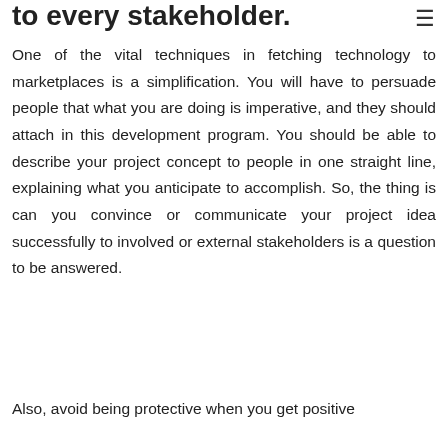to every stakeholder.
One of the vital techniques in fetching technology to marketplaces is a simplification. You will have to persuade people that what you are doing is imperative, and they should attach in this development program. You should be able to describe your project concept to people in one straight line, explaining what you anticipate to accomplish. So, the thing is can you convince or communicate your project idea successfully to involved or external stakeholders is a question to be answered.
Also, avoid being protective when you get positive